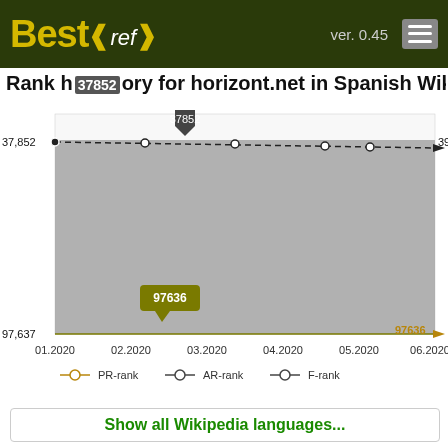Best<ref> ver. 0.45
Rank history for horizont.net in Spanish Wikipedia
[Figure (line-chart): Rank history for horizont.net in Spanish Wikipedia]
Show all Wikipedia languages...
Wikipedia Languages
ar  Arabic
az  Azerbaijani